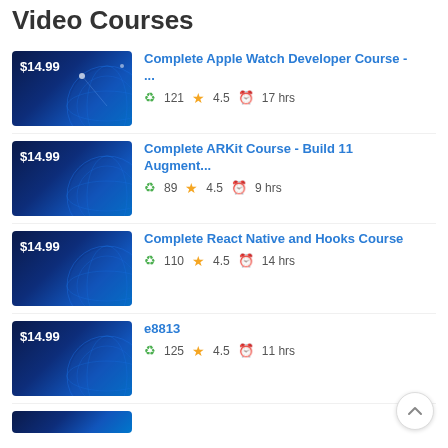Video Courses
$14.99 | Complete Apple Watch Developer Course - ... | 121 students | 4.5 stars | 17 hrs
$14.99 | Complete ARKit Course - Build 11 Augment... | 89 students | 4.5 stars | 9 hrs
$14.99 | Complete React Native and Hooks Course | 110 students | 4.5 stars | 14 hrs
$14.99 | e8813 | 125 students | 4.5 stars | 11 hrs